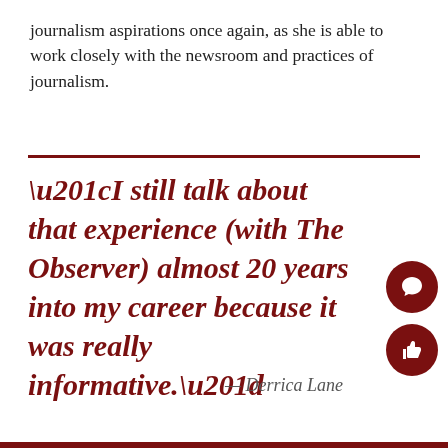journalism aspirations once again, as she is able to work closely with the newsroom and practices of journalism.
“I still talk about that experience (with The Observer) almost 20 years into my career because it was really informative.”
— Derrica Lane